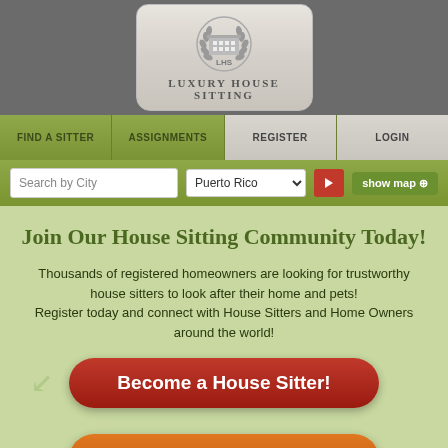[Figure (logo): Luxury House Sitting logo with LHS emblem inside a wreath on a rounded rectangle badge]
Luxury House Sitting
[Figure (screenshot): Website navigation bar with tabs: Find a Sitter, Assignments, Register (active/highlighted), Login]
[Figure (screenshot): Search bar with 'Search by City' input, 'Puerto Rico' dropdown, red arrow button, and green 'show map' button]
Join Our House Sitting Community Today!
Thousands of registered homeowners are looking for trustworthy house sitters to look after their home and pets! Register today and connect with House Sitters and Home Owners around the world!
Become a House Sitter!
Hire a House Sitter!